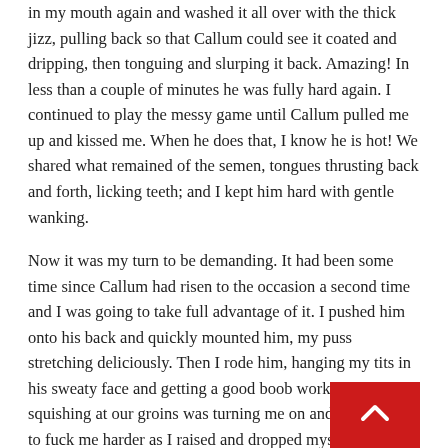in my mouth again and washed it all over with the thick jizz, pulling back so that Callum could see it coated and dripping, then tonguing and slurping it back. Amazing! In less than a couple of minutes he was fully hard again. I continued to play the messy game until Callum pulled me up and kissed me. When he does that, I know he is hot! We shared what remained of the semen, tongues thrusting back and forth, licking teeth; and I kept him hard with gentle wanking.
Now it was my turn to be demanding. It had been some time since Callum had risen to the occasion a second time and I was going to take full advantage of it. I pushed him onto his back and quickly mounted him, my puss stretching deliciously. Then I rode him, hanging my tits in his sweaty face and getting a good boob workout. The wet squishing at our groins was turning me on and I urged him to fuck me harder as I raised and dropped myself on his pole. A few minutes of this and then we rolled over and continued in the missionary position. Very nice long loving, lots of kisses and whispers, slow build up and nice cumming. Just what I needed after the days apart.
We woke late this morning and had to rush to get